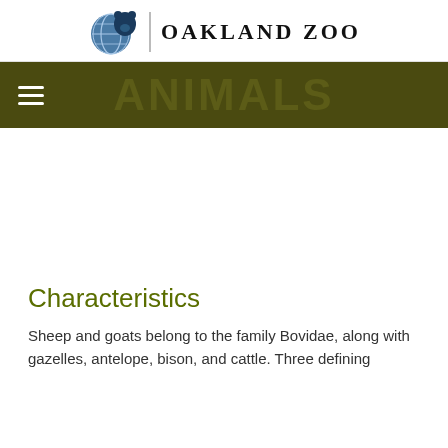OAKLAND ZOO
[Figure (logo): Oakland Zoo logo with globe and bear silhouette icon next to text 'OAKLAND ZOO']
Characteristics
Sheep and goats belong to the family Bovidae, along with gazelles, antelope, bison, and cattle. Three defining